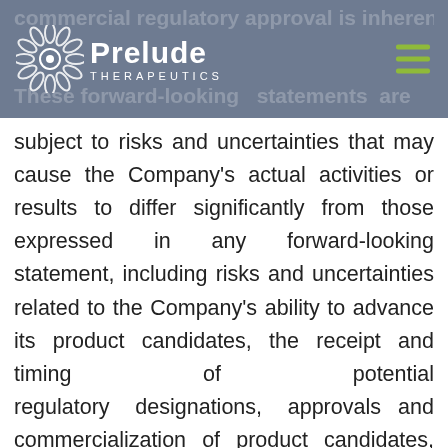Prelude Therapeutics
subject to risks and uncertainties that may cause the Company's actual activities or results to differ significantly from those expressed in any forward-looking statement, including risks and uncertainties related to the Company's ability to advance its product candidates, the receipt and timing of potential regulatory designations, approvals and commercialization of product candidates, the impact of the COVID-19 pandemic on the Company's business, clinical trial sites, supply